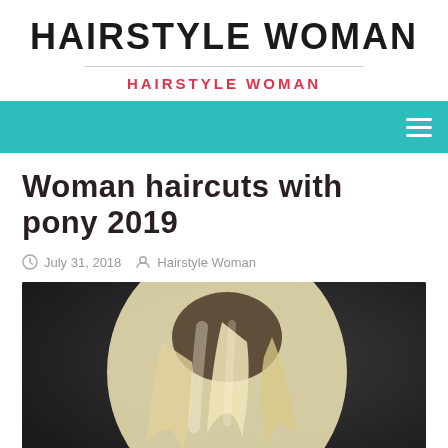HAIRSTYLE WOMAN
HAIRSTYLE WOMAN
Woman haircuts with pony 2019
July 31, 2018  Hairstyle Woman
[Figure (photo): Blonde woman with a pony hairstyle, viewed from behind/side, against a dark background]